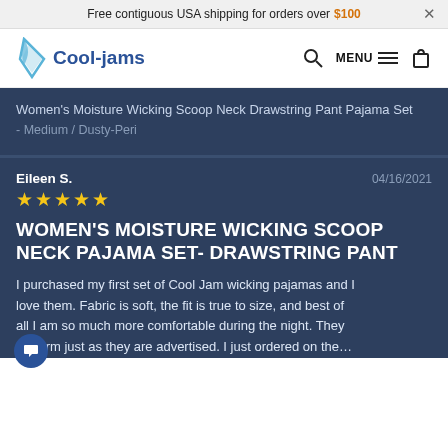Free contiguous USA shipping for orders over $100 ×
[Figure (logo): Cool-jams logo with blue droplet/flame icon and blue text]
Women's Moisture Wicking Scoop Neck Drawstring Pant Pajama Set - Medium / Dusty-Peri
Eileen S.  04/16/2021
WOMEN'S MOISTURE WICKING SCOOP NECK PAJAMA SET- DRAWSTRING PANT
I purchased my first set of Cool Jam wicking pajamas and I love them. Fabric is soft, the fit is true to size, and best of all I am so much more comfortable during the night. They perform just as they are advertised. I just ordered on the…